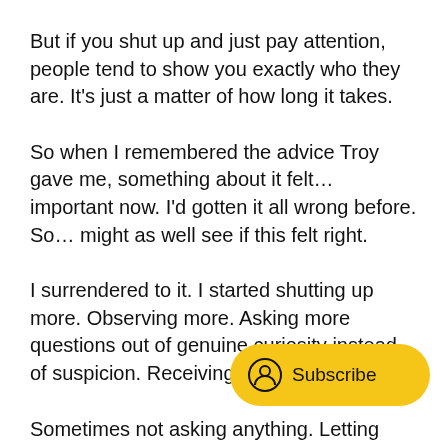But if you shut up and just pay attention, people tend to show you exactly who they are. It's just a matter of how long it takes.
So when I remembered the advice Troy gave me, something about it felt… important now. I'd gotten it all wrong before. So… might as well see if this felt right.
I surrendered to it. I started shutting up more. Observing more. Asking more questions out of genuine curiosity instead of suspicion. Receiving more answers.
Sometimes not asking anything. Letting people tell (or show) me when they were ready. Letting them
[Figure (other): Yellow pill-shaped Subscribe button with a circular user/subscribe icon on the left and the text 'Subscribe' on the right]